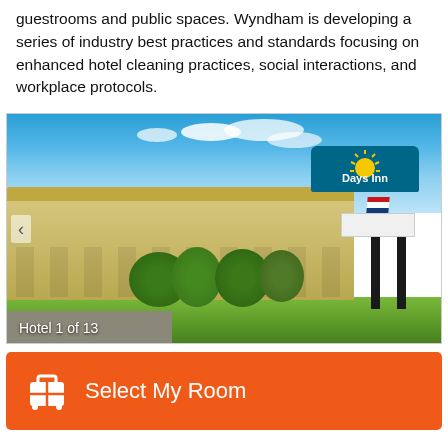guestrooms and public spaces. Wyndham is developing a series of industry best practices and standards focusing on enhanced hotel cleaning practices, social interactions, and workplace protocols.
[Figure (photo): Exterior photo of a Days Inn hotel showing a two-story beige building with a large Days Inn sign featuring a sun logo on a teal background. Caption reads 'Hotel 1 of 13'.]
Hotel 1 of 13
Select My Room